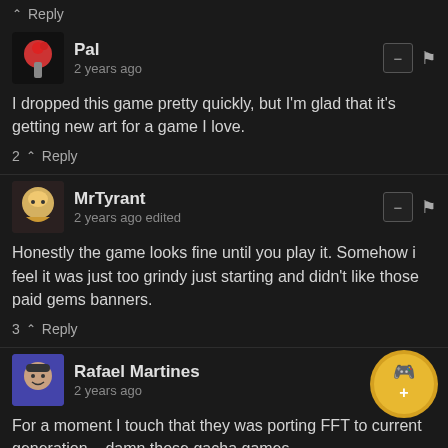^ Reply
Pal
2 years ago
I dropped this game pretty quickly, but I'm glad that it's getting new art for a game I love.
2 ^ Reply
MrTyrant
2 years ago edited
Honestly the game looks fine until you play it. Somehow i feel it was just too grindy just starting and didn't like those paid gems banners.
3 ^ Reply
Rafael Martines
2 years ago
For a moment I touch that they was porting FFT to current generation... damn those gacha games...
2 ^ Reply